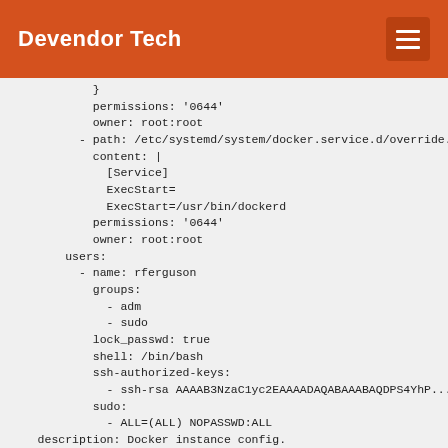Devendor Tech
}
        permissions: '0644'
        owner: root:root
      - path: /etc/systemd/system/docker.service.d/override.c
        content: |
          [Service]
          ExecStart=
          ExecStart=/usr/bin/dockerd
        permissions: '0644'
        owner: root:root
    users:
      - name: rferguson
        groups:
          - adm
          - sudo
        lock_passwd: true
        shell: /bin/bash
        ssh-authorized-keys:
          - ssh-rsa AAAAB3NzaC1yc2EAAAADAQABAAABAQDPS4YhP...
        sudo:
          - ALL=(ALL) NOPASSWD:ALL
    description: Docker instance config.
    devices: {}
    name: docker
    used_by: []

root@ins2# lxc profile show default
config: {}